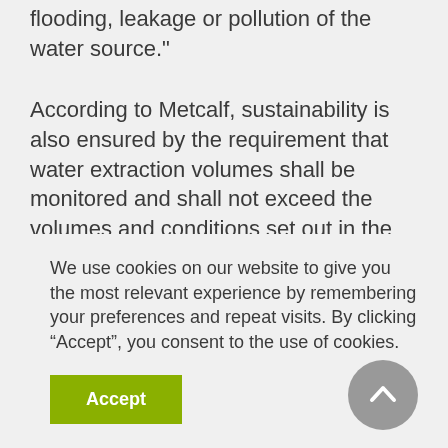flooding, leakage or pollution of the water source."
According to Metcalf, sustainability is also ensured by the requirement that water extraction volumes shall be monitored and shall not exceed the volumes and conditions set out in the water license granted by the issuing authority.
Monitoring water usage also allows the bottling facility to determine the efficiency of water use with a water usage ratio calculated monthly, recorded, monitored
We use cookies on our website to give you the most relevant experience by remembering your preferences and repeat visits. By clicking “Accept”, you consent to the use of cookies.